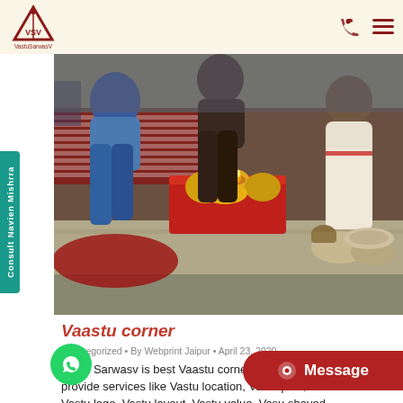[Figure (logo): VastuSarwasV logo — triangle with dot, VSV text, brand name below]
[Figure (photo): Photo of men sitting cross-legged on floor around a red platform with marigold flowers and oil lamp (puja/havan ceremony)]
Vaastu corner
Uncategorized • By Webprint Jaipur • April 23, 2020
Vastu Sarwasv is best Vaastu corner. We also provide services like Vastu location, Vastu plan, Vastu logo, Vastu layout, Vastu value, Vasu shaved house, v-shaped